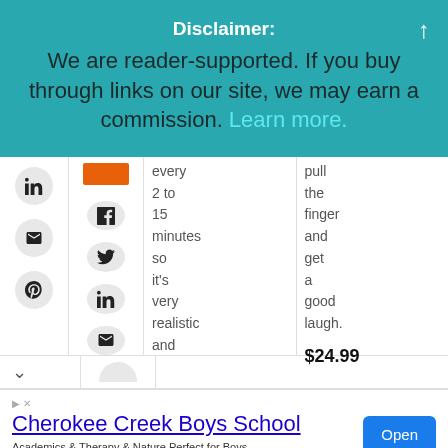Disclaimer:
We are reader-supported. If you buy through links on our site, we may earn a commission. Learn more.
[Figure (screenshot): Social media share icons sidebar (LinkedIn, email, Pinterest) and a second column with Facebook, Twitter, LinkedIn, email icons, plus an orange colored block. Two table columns with text: 'every 2 to 15 minutes so it's very realistic and' and 'pull the finger and get a good laugh.' with price $24.99]
[Figure (screenshot): Advertisement banner for Cherokee Creek Boys School with blue Open button]